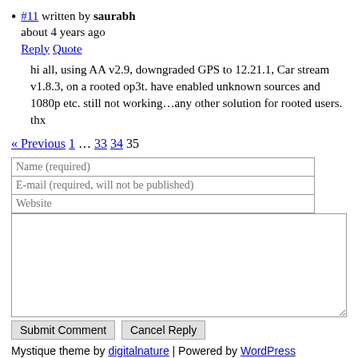#11 written by saurabh about 4 years ago Reply Quote
hi all, using AA v2.9, downgraded GPS to 12.21.1, Car stream v1.8.3, on a rooted op3t. have enabled unknown sources and 1080p etc. still not working…any other solution for rooted users. thx
« Previous 1 … 33 34 35
| Name (required) |
| E-mail (required, will not be published) |
| Website |
[comment textarea]
Submit Comment   Cancel Reply
Mystique theme by digitalnature | Powered by WordPress RSS Feeds XHTML 1.1 Top
[Figure (other): PROTECTED BY COPYSCAPE DO NOT COPY badge]